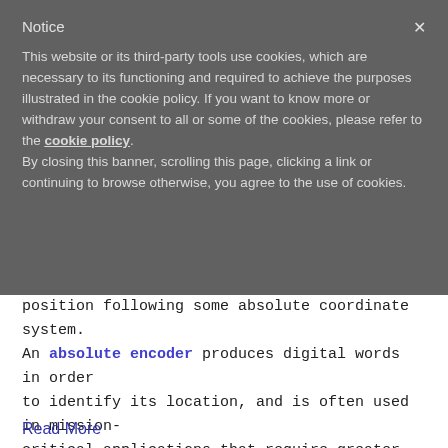Notice
This website or its third-party tools use cookies, which are necessary to its functioning and required to achieve the purposes illustrated in the cookie policy. If you want to know more or withdraw your consent to all or some of the cookies, please refer to the cookie policy.
By closing this banner, scrolling this page, clicking a link or continuing to browse otherwise, you agree to the use of cookies.
position following some absolute coordinate system. An absolute encoder produces digital words in order to identify its location, and is often used in mission-critical applications that require greater speed and accuracy.
Read More